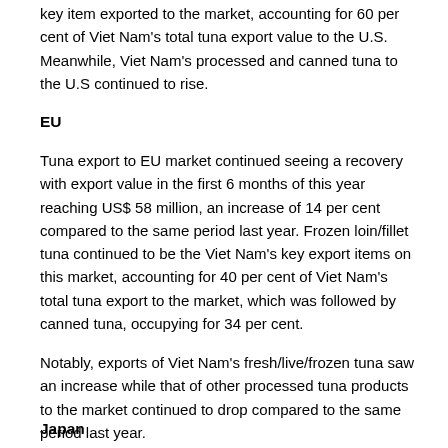key item exported to the market, accounting for 60 per cent of Viet Nam's total tuna export value to the U.S. Meanwhile, Viet Nam's processed and canned tuna to the U.S continued to rise.
EU
Tuna export to EU market continued seeing a recovery with export value in the first 6 months of this year reaching US$ 58 million, an increase of 14 per cent compared to the same period last year. Frozen loin/fillet tuna continued to be the Viet Nam's key export items on this market, accounting for 40 per cent of Viet Nam's total tuna export to the market, which was followed by canned tuna, occupying for 34 per cent.
Notably, exports of Viet Nam's fresh/live/frozen tuna saw an increase while that of other processed tuna products to the market continued to drop compared to the same period last year.
Japan